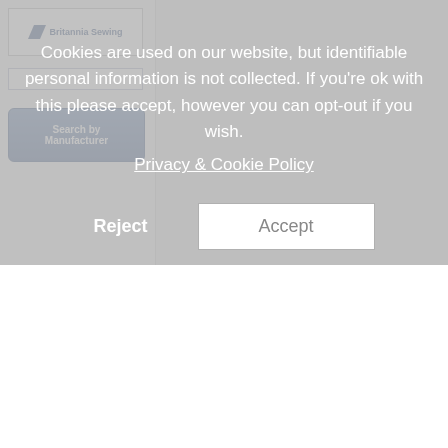[Figure (screenshot): Britannia Sewing website screenshot showing logo, search input, and Search by Manufacturer button in left sidebar, overlaid by a cookie consent dialog with Reject and Accept buttons]
Cookies are used on our website, but identifiable personal information is not collected. If you're ok with this please accept, however you can opt-out if you wish.
Privacy & Cookie Policy
Reject
Accept